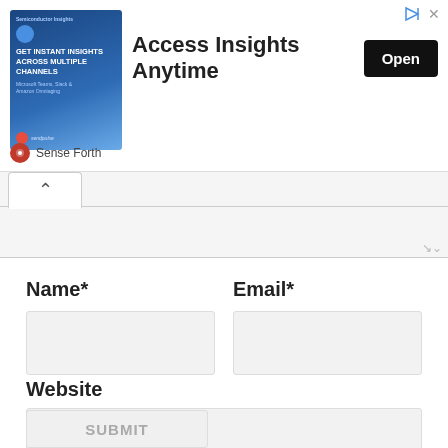[Figure (screenshot): Advertisement banner: 'Access Insights Anytime' with an 'Open' button, a decorative image on the left showing a person with text 'GET INSTANT INSIGHTS ACROSS MULTIPLE CHANNELS', and a 'Sense Forth' branding at the bottom left. Close and play controls at top right.]
^
Name*
Email*
Website
SUBMIT